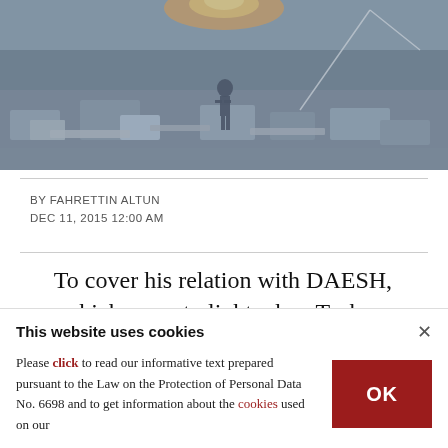[Figure (photo): War rubble scene, gray debris and concrete blocks with a figure standing in the background, orange/warm light at top]
BY FAHRETTIN ALTUN
DEC 11, 2015 12:00 AM
To cover his relation with DAESH, which came to light when Turkey downed the Russian jet for violating its airspace, Putin, with false evidence, accused Turkey of cooperating there...
This website uses cookies
Please click to read our informative text prepared pursuant to the Law on the Protection of Personal Data No. 6698 and to get information about the cookies used on our